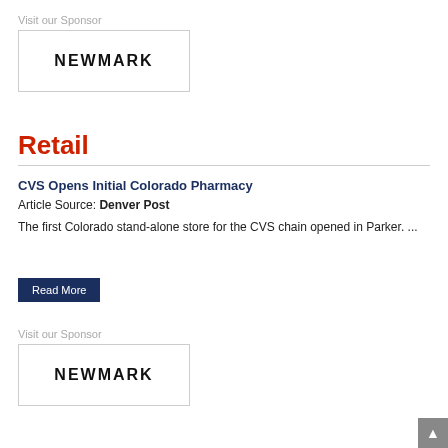Visit our Sponsor
[Figure (logo): NEWMARK logo in a bordered rectangle box]
Retail
CVS Opens Initial Colorado Pharmacy
Article Source: Denver Post
The first Colorado stand-alone store for the CVS chain opened in Parker. ...
Read More
Visit our Sponsor
[Figure (logo): NEWMARK logo in a bordered rectangle box]